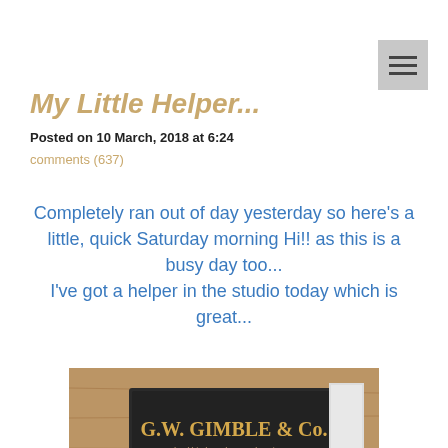My Little Helper...
Posted on 10 March, 2018 at 6:24
comments (637)
Completely ran out of day yesterday so here's a little, quick Saturday morning Hi!! as this is a busy day too...
I've got a helper in the studio today which is great...
[Figure (photo): A cat sitting in a studio with a G.W. Gimble & Co. sign on the wall behind it, surrounded by various objects on a workbench.]